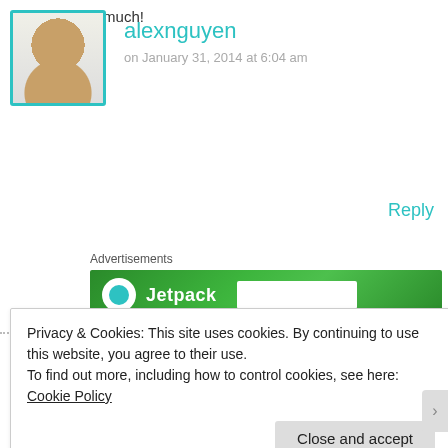alexnguyen
on January 31, 2014 at 6:04 am
Aw thanks so much!
Reply
Advertisements
[Figure (screenshot): Green Jetpack advertisement banner]
Nout @ SandpaperKissesBlog
Privacy & Cookies: This site uses cookies. By continuing to use this website, you agree to their use.
To find out more, including how to control cookies, see here: Cookie Policy
Close and accept